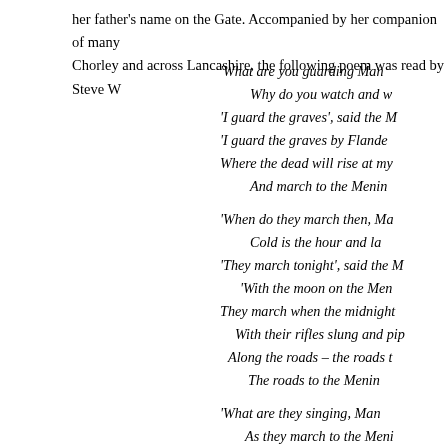her father's name on the Gate. Accompanied by her companion of many years through Chorley and across Lancashire, the following poem was read by Steve W
'What are you guarding Man... Why do you watch and w... 'I guard the graves', said the M... 'I guard the graves by Flande... Where the dead will rise at my... And march to the Menin...
'When do they march then, Ma... Cold is the hour and la... 'They march tonight', said the M... 'With the moon on the Men... They march when the midnight... With their rifles slung and pip... Along the roads – the roads t... The roads to the Menin...
'What are they singing, Man... As they march to the Meni... 'The marching songs', said the M... 'That let them laugh at... No more will the night be col...